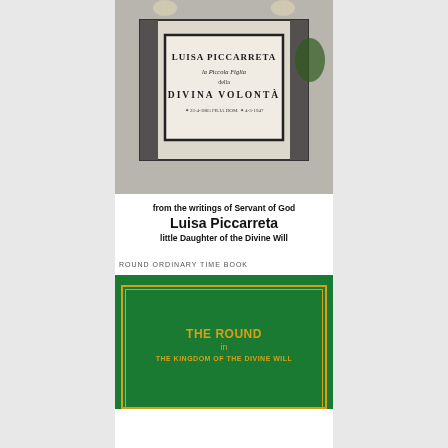[Figure (photo): Marble tomb monument of Luisa Piccarreta with inscription: LUISA PICCARRETA / la Piccola Figlia / della / DIVINA VOLONTÀ with dates, followed by text 'from the writings of Servant of God / Luisa Piccarreta / little Daughter of the Divine Will']
ROUND ORDINARY TIME BOOK
[Figure (photo): Green book cover with gold border and text: THE ROUND / in / THE KINGDOM OF THE DIVINE WILL]